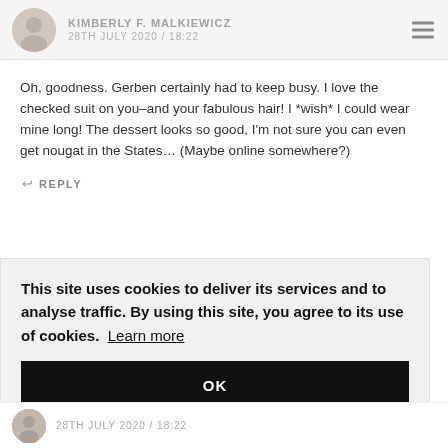KIMBERLY F. MALKIEWICZ 28TH JULY 2020 / 18:22
Oh, goodness. Gerben certainly had to keep busy. I love the checked suit on you–and your fabulous hair! I *wish* I could wear mine long! The dessert looks so good, I'm not sure you can even get nougat in the States… (Maybe online somewhere?)
REPLY
This site uses cookies to deliver its services and to analyse traffic. By using this site, you agree to its use of cookies.  Learn more
OK
28TH JULY 2020 / 18:22